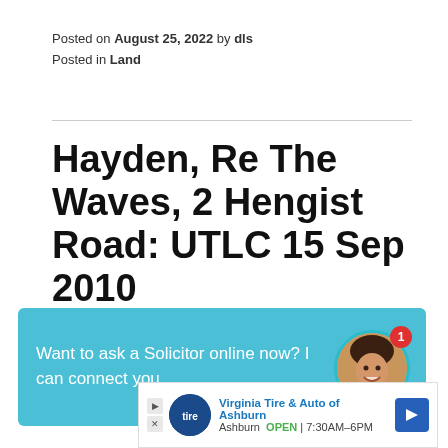Posted on August 25, 2022 by dls
Posted in Land
Hayden, Re The Waves, 2 Hengist Road: UTLC 15 Sep 2010
UTLC RESTRICTIVE COVENANT – modification – obsoleteness – practical benefits of substantial value or advantage – implicit agreement – injury – planning issues – modification allowed – Law of
[Figure (other): Chat widget overlay: 'Want to ask a Solicitor online now? I can connect you ...' with avatar photo and badge showing 1]
[Figure (other): Advertisement banner: Virginia Tire & Auto of Ashburn, Ashburn OPEN 7:30AM–6PM]